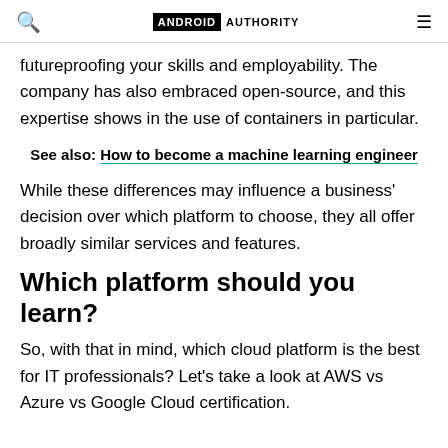ANDROID AUTHORITY
futureproofing your skills and employability. The company has also embraced open-source, and this expertise shows in the use of containers in particular.
See also: How to become a machine learning engineer
While these differences may influence a business' decision over which platform to choose, they all offer broadly similar services and features.
Which platform should you learn?
So, with that in mind, which cloud platform is the best for IT professionals? Let's take a look at AWS vs Azure vs Google Cloud certification.